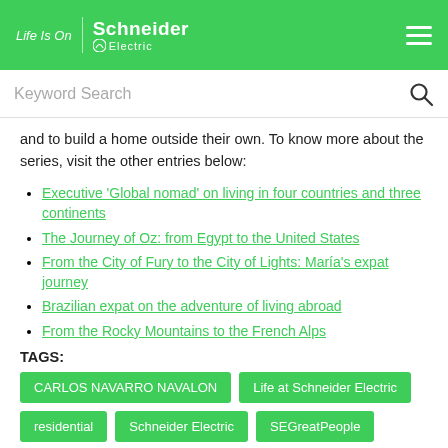Life Is On | Schneider Electric
Keyword Search
and to build a home outside their own. To know more about the series, visit the other entries below:
Executive 'Global nomad' on living in four countries and three continents
The Journey of Oz: from Egypt to the United States
From the City of Fury to the City of Lights: María's expat journey
Brazilian expat on the adventure of living abroad
From the Rocky Mountains to the French Alps
TAGS:
CARLOS NAVARRO NAVALON
Life at Schneider Electric
residential
Schneider Electric
SEGreatPeople
unica switches
what does home mean to you
Wiser
Wiser home management